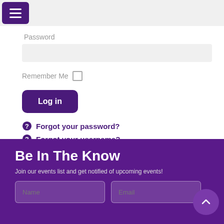[Figure (screenshot): Navigation bar with hamburger menu button (purple) and grey background]
Password
[Figure (screenshot): Password input field (grey background)]
Remember Me
[Figure (screenshot): Log in button (purple rounded rectangle)]
Forgot your password?
Forgot your username?
Be In The Know
Join our events list and get notified of upcoming events!
[Figure (screenshot): Name and Email input fields in purple footer, with back-to-top button]